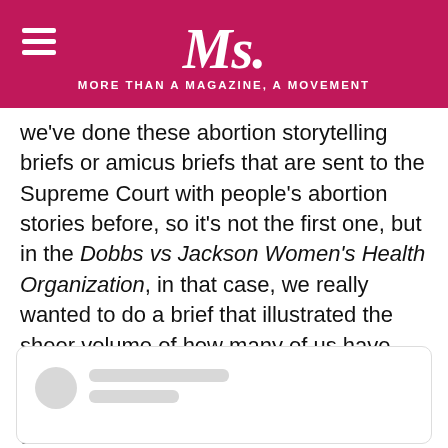Ms. — MORE THAN A MAGAZINE, A MOVEMENT
we've done these abortion storytelling briefs or amicus briefs that are sent to the Supreme Court with people's abortion stories before, so it's not the first one, but in the Dobbs vs Jackson Women's Health Organization, in that case, we really wanted to do a brief that illustrated the sheer volume of how many of us have had abortions, shared our stories, and just like know we want access to abortion to remain.
[Figure (screenshot): Embedded social media or web content card with a circular avatar placeholder and two gray placeholder lines for a username/handle, with empty content area below.]